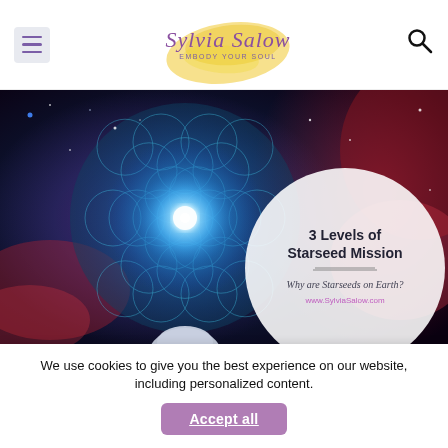[Figure (logo): Sylvia Salow logo with golden watercolor splash, cursive text and tagline 'EMBODY YOUR SOUL']
[Figure (photo): Space/nebula background with flower of life sacred geometry pattern glowing in teal/blue, red nebula clouds, and a white circle overlay with text '3 Levels of Starseed Mission — Why are Starseeds on Earth? www.SylviaSalow.com']
We use cookies to give you the best experience on our website, including personalized content.
Accept all